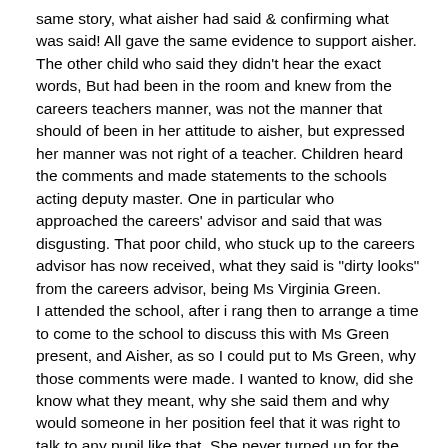same story, what aisher had said & confirming what was said! All gave the same evidence to support aisher. The other child who said they didn't hear the exact words, But had been in the room and knew from the careers teachers manner, was not the manner that should of been in her attitude to aisher, but expressed her manner was not right of a teacher. Children heard the comments and made statements to the schools acting deputy master. One in particular who approached the careers' advisor and said that was disgusting. That poor child, who stuck up to the careers advisor has now received, what they said is "dirty looks" from the careers advisor, being Ms Virginia Green.
I attended the school, after i rang then to arrange a time to come to the school to discuss this with Ms Green present, and Aisher, as so I could put to Ms Green, why those comments were made. I wanted to know, did she know what they meant, why she said them and why would someone in her position feel that it was right to talk to any pupil like that. She never turned up for the meeting! It was confirmed from Mt Foster, acting, that she admitted the accusations' and